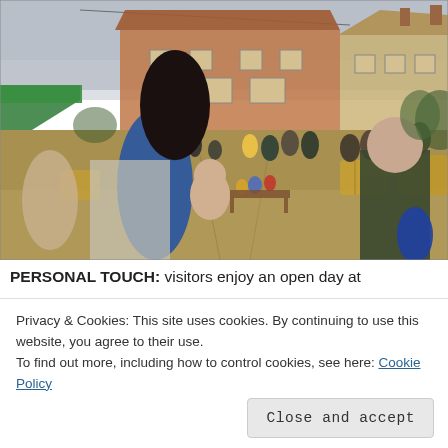[Figure (photo): Outdoor open day scene at a farm or rural property. People including adults and children are gathered in a courtyard area with hay bales. There is a woman with a blue backpack in the foreground. Old stone/brick buildings with red-tiled roofs are visible in the background. A green tent is visible on the left.]
PERSONAL TOUCH: visitors enjoy an open day at
Privacy & Cookies: This site uses cookies. By continuing to use this website, you agree to their use.
To find out more, including how to control cookies, see here: Cookie Policy
Close and accept